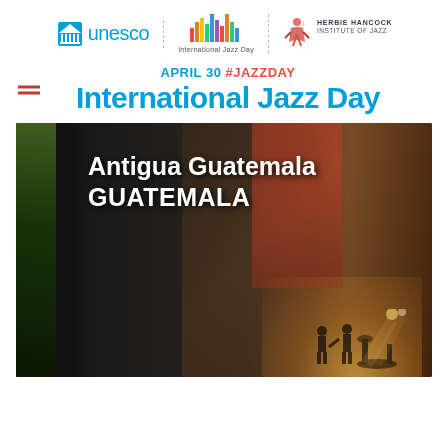[Figure (logo): Three logos in a row separated by dashed vertical lines: UNESCO logo (blue box with building icon and 'unesco' text), International Jazz Day logo (colored vertical bars with 'International Jazz Day' text below), and Herbie Hancock Institute of Jazz logo (stylized figure with text)]
APRIL 30 #JAZZDAY
International Jazz Day
[Figure (photo): Photograph of a street scene in Antigua Guatemala with dark colonial architecture on the left and a performance/concert scene with stage lights on the right. Text overlay reads 'Antigua Guatemala GUATEMALA' in white bold text.]